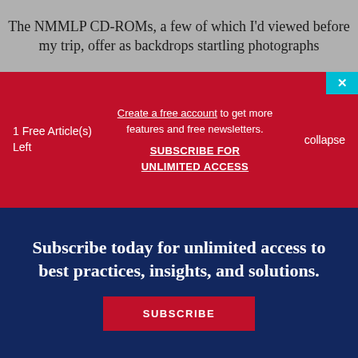The NMMLP CD-ROMs, a few of which I'd viewed before my trip, offer as backdrops startling photographs
1 Free Article(s) Left
Create a free account to get more features and free newsletters. SUBSCRIBE FOR UNLIMITED ACCESS
collapse
Subscribe today for unlimited access to best practices, insights, and solutions.
SUBSCRIBE